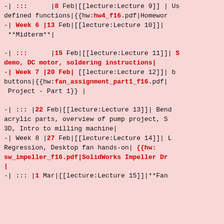-| :::      |8 Feb|[[lecture:Lecture 9]] | Us defined functions|{{hw:hw4_f16.pdf|Homework
-| Week 6 |13 Feb|[[lecture:Lecture 10]]| **Midterm**|
-| :::      |15 Feb|[[lecture:Lecture 11]]| S demo, DC motor, soldering instructions|
-| Week 7 |20 Feb| [[lecture:Lecture 12]]| buttons|{{hw:fan_assignment_part1_f16.pdf| Project - Part 1}} |
-| ::: |22 Feb|[[lecture:Lecture 13]]| Bend acrylic parts, overview of pump project, S 3D, Intro to milling machine|
-| Week 8 |27 Feb|[[lecture:Lecture 14]]| L Regression, Desktop fan hands-on| {{hw:sw_impeller_f16.pdf|SolidWorks Impeller Dr |
-| ::: |1 Mar|[[lecture:Lecture 15]]|**Fan